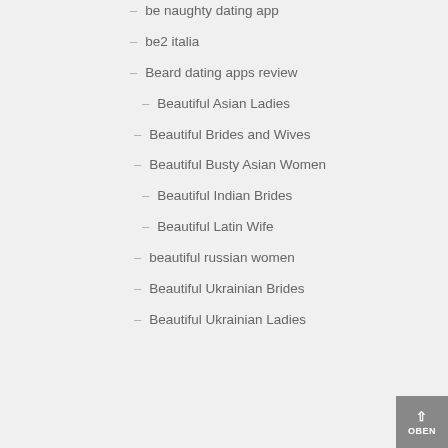– be naughty dating app
– be2 italia
– Beard dating apps review
– Beautiful Asian Ladies
– Beautiful Brides and Wives
– Beautiful Busty Asian Women
– Beautiful Indian Brides
– Beautiful Latin Wife
– beautiful russian women
– Beautiful Ukrainian Brides
– Beautiful Ukrainian Ladies